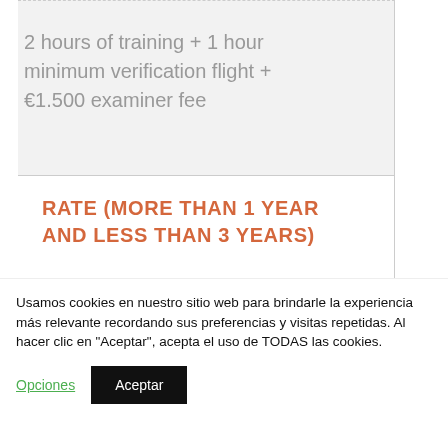2 hours of training + 1 hour minimum verification flight + €1.500 examiner fee
RATE (MORE THAN 1 YEAR AND LESS THAN 3 YEARS)
3 hours of training + 1 hour
Usamos cookies en nuestro sitio web para brindarle la experiencia más relevante recordando sus preferencias y visitas repetidas. Al hacer clic en "Aceptar", acepta el uso de TODAS las cookies.